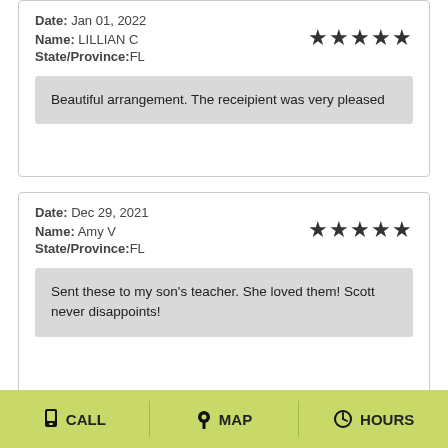Date: Jan 01, 2022
Name: LILLIAN C
State/Province:FL
★★★★★
Beautiful arrangement. The receipient was very pleased
Date: Dec 29, 2021
Name: Amy V
State/Province:FL
★★★★★
Sent these to my son's teacher. She loved them! Scott never disappoints!
CALL  MAP  HOURS